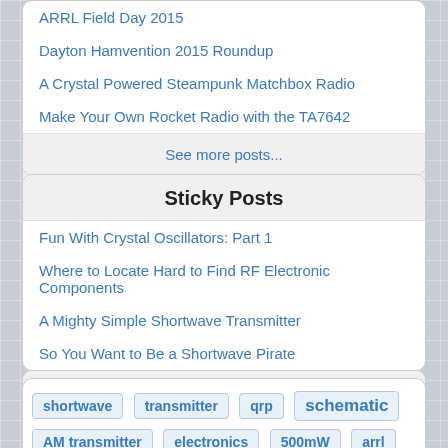ARRL Field Day 2015
Dayton Hamvention 2015 Roundup
A Crystal Powered Steampunk Matchbox Radio
Make Your Own Rocket Radio with the TA7642
See more posts...
Sticky Posts
Fun With Crystal Oscillators: Part 1
Where to Locate Hard to Find RF Electronic Components
A Mighty Simple Shortwave Transmitter
So You Want to Be a Shortwave Pirate
shortwave transmitter qrp schematic AM transmitter electronics 500mW arrl field day cw radio operating